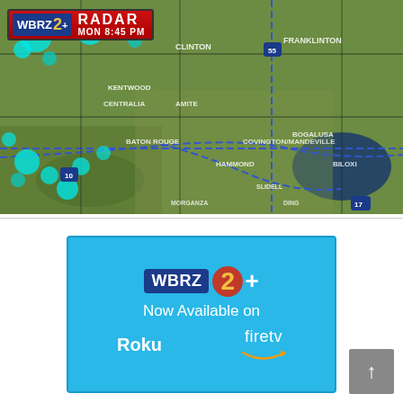[Figure (screenshot): WBRZ 2+ weather radar map showing Louisiana and surrounding region with cyan radar returns indicating precipitation. Blue dashed lines show highway routes (I-10, I-55, I-12, I-17). Overlay banner shows 'WBRZ 2+ RADAR MON 8:45 PM'.]
[Figure (infographic): WBRZ 2+ advertisement on cyan/light blue background. Shows WBRZ 2+ logo, text 'Now Available on', Roku logo, and fire tv (Amazon Fire TV) logo with Amazon smile arrow.]